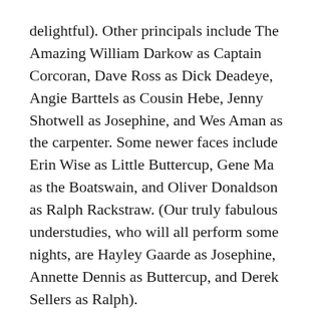delightful). Other principals include The Amazing William Darkow as Captain Corcoran, Dave Ross as Dick Deadeye, Angie Barttels as Cousin Hebe, Jenny Shotwell as Josephine, and Wes Aman as the carpenter. Some newer faces include Erin Wise as Little Buttercup, Gene Ma as the Boatswain, and Oliver Donaldson as Ralph Rackstraw. (Our truly fabulous understudies, who will all perform some nights, are Hayley Gaarde as Josephine, Annette Dennis as Buttercup, and Derek Sellers as Ralph).
Both shows have the Society's customary excellent singing, acting, and production values. Pinafore also includes dancers from the ARC School of Ballet...